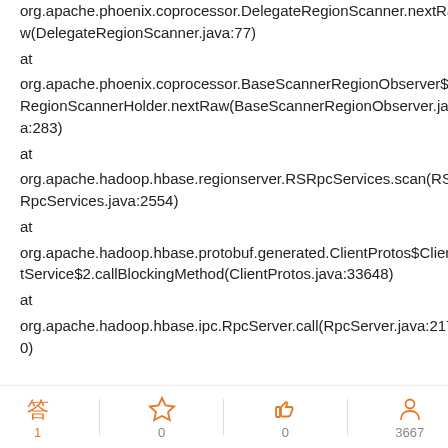org.apache.phoenix.coprocessor.DelegateRegionScanner.nextRaw(DelegateRegionScanner.java:77)
at
org.apache.phoenix.coprocessor.BaseScannerRegionObserver$RegionScannerHolder.nextRaw(BaseScannerRegionObserver.java:283)
at
org.apache.hadoop.hbase.regionserver.RSRpcServices.scan(RSRpcServices.java:2554)
at
org.apache.hadoop.hbase.protobuf.generated.ClientProtos$ClientService$2.callBlockingMethod(ClientProtos.java:33648)
at
org.apache.hadoop.hbase.ipc.RpcServer.call(RpcServer.java:2170)
[Figure (infographic): Footer bar with four icons and counts: 答(1), star(0), thumbs-up(0), person(3667)]